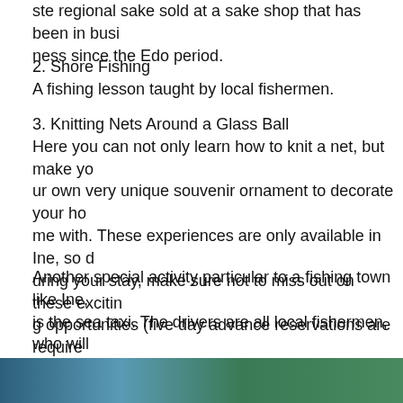ste regional sake sold at a sake shop that has been in business since the Edo period.
2. Shore Fishing
A fishing lesson taught by local fishermen.
3. Knitting Nets Around a Glass Ball
Here you can not only learn how to knit a net, but make your own very unique souvenir ornament to decorate your home with. These experiences are only available in Ine, so during your stay, make sure not to miss out on these exciting opportunities (five day advance reservations are required).
Another special activity particular to a fishing town like Ine, is the sea taxi. The drivers are all local fishermen, who will act as tour guides and historians of Ine during the trip. On this course, tourists can not only see inside the boathouses, but visit some as well. This is another convenient way to get about and experience all of what Ine has to offer.
[Figure (photo): Partial view of a coastal or landscape photo at the bottom of the page.]